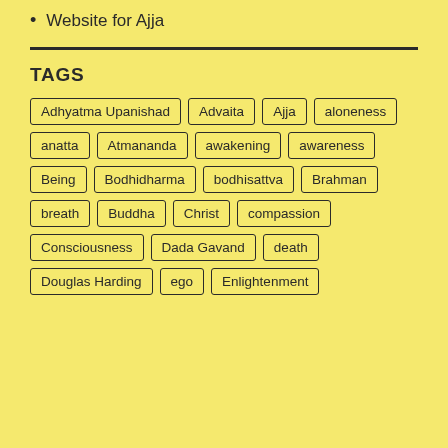Website for Ajja
TAGS
Adhyatma Upanishad, Advaita, Ajja, aloneness, anatta, Atmananda, awakening, awareness, Being, Bodhidharma, bodhisattva, Brahman, breath, Buddha, Christ, compassion, Consciousness, Dada Gavand, death, Douglas Harding, ego, Enlightenment